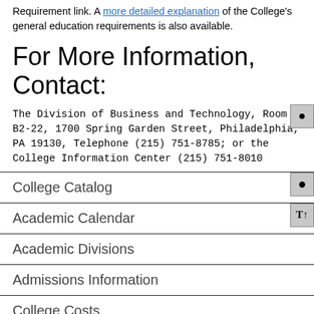Requirement link. A more detailed explanation of the College's general education requirements is also available.
For More Information, Contact:
The Division of Business and Technology, Room B2-22, 1700 Spring Garden Street, Philadelphia, PA 19130, Telephone (215) 751-8785; or the College Information Center (215) 751-8010
College Catalog
Academic Calendar
Academic Divisions
Admissions Information
College Costs
College Information